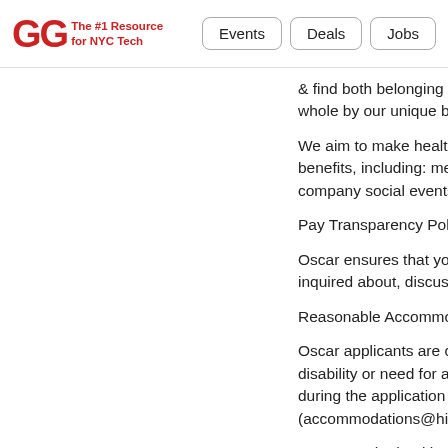GG The #1 Resource for NYC Tech | Events | Deals | Jobs
& find both belonging & support. We're on a m whole by our unique backgrounds & perspecti
We aim to make health care affordable & acce benefits, including: medical benefits, generous company social events, stocked kitchens, well
Pay Transparency Policy:
Oscar ensures that you won't be discharged o inquired about, discussed, or disclosed your p
Reasonable Accommodation:
Oscar applicants are considered solely based disability or need for accommodation. Any Osc during the application process should contact (accommodations@hioscar.com) to make the
To protect the health & safety of our employee to be fully vaccinated against COVID-19 by the medical or protected religious reasons, please